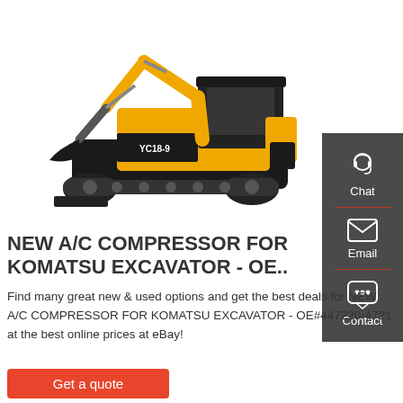[Figure (photo): Yellow and black Yuchai YC18-9 mini excavator on white background]
[Figure (infographic): Dark grey sidebar with Chat, Email, and Contact icons]
NEW A/C COMPRESSOR FOR KOMATSU EXCAVATOR - OE..
Find many great new & used options and get the best deals for NEW A/C COMPRESSOR FOR KOMATSU EXCAVATOR - OE#447220-4721 at the best online prices at eBay!
Get a quote